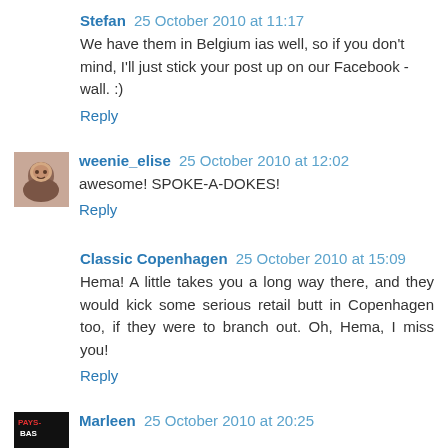Stefan 25 October 2010 at 11:17
We have them in Belgium ias well, so if you don't mind, I'll just stick your post up on our Facebook -wall. :)
Reply
weenie_elise 25 October 2010 at 12:02
awesome! SPOKE-A-DOKES!
Reply
Classic Copenhagen 25 October 2010 at 15:09
Hema! A little takes you a long way there, and they would kick some serious retail butt in Copenhagen too, if they were to branch out. Oh, Hema, I miss you!
Reply
Marleen 25 October 2010 at 20:25